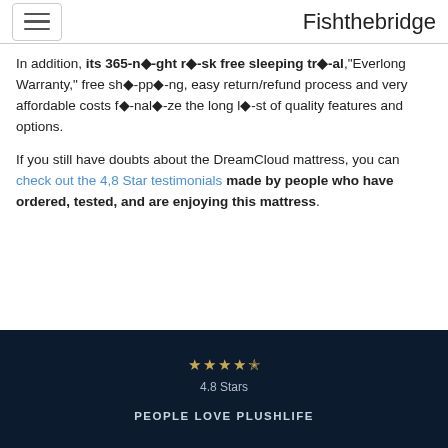Fishthebridge
In addition, its 365-n�-ght r�-sk free sleeping tr�-al,"Everlong Warranty," free sh�-pp�-ng, easy return/refund process and very affordable costs f�-nal�-ze the long l�-st of quality features and options.
If you still have doubts about the DreamCloud mattress, you can check out the 4,8 Star testimonials made by people who have ordered, tested, and are enjoying this mattress.
[Figure (infographic): Dark navy banner showing 4.8 star rating with gold stars and text 'PEOPLE LOVE PLUSHLIFE']